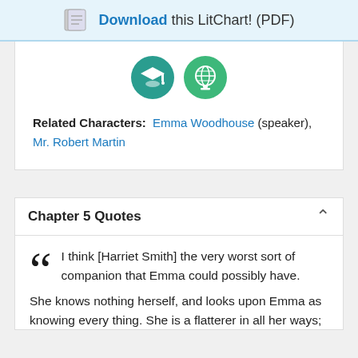Download this LitChart! (PDF)
[Figure (illustration): Two circular teal/green icons with white symbols inside — one with a graduation cap symbol and one with a globe symbol]
Related Characters: Emma Woodhouse (speaker), Mr. Robert Martin
Chapter 5 Quotes
I think [Harriet Smith] the very worst sort of companion that Emma could possibly have. She knows nothing herself, and looks upon Emma as knowing every thing. She is a flatterer in all her ways;